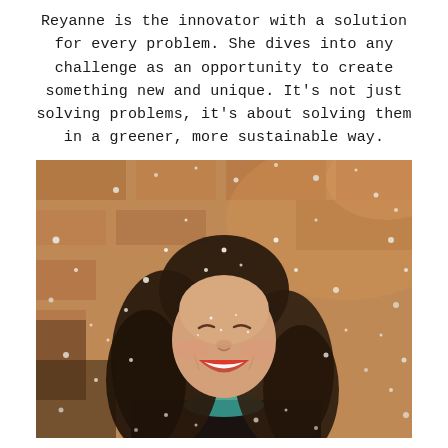Reyanne is the innovator with a solution for every problem. She dives into any challenge as an opportunity to create something new and unique. It's not just solving problems, it's about solving them in a greener, more sustainable way.
[Figure (photo): A smiling young woman with long dark hair, eyes closed, laughing joyfully as water droplets or snow spray around her face. She is wearing a dark jacket with a teal/turquoise top. The background is a warm, blurred brick/stone wall with orange and brown tones.]